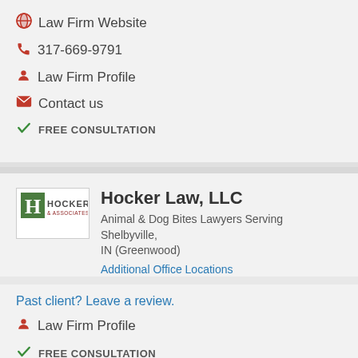Law Firm Website
317-669-9791
Law Firm Profile
Contact us
FREE CONSULTATION
Hocker Law, LLC
Animal & Dog Bites Lawyers Serving Shelbyville, IN (Greenwood)
Additional Office Locations
Past client? Leave a review.
Law Firm Profile
FREE CONSULTATION